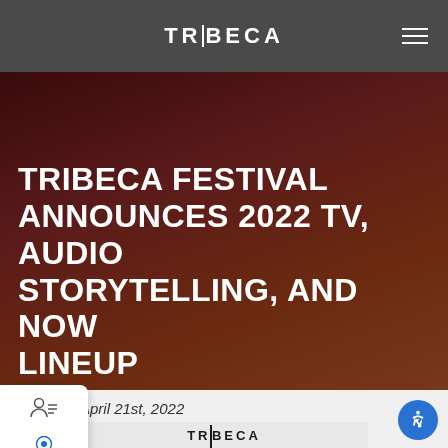TRIBECA
TRIBECA FESTIVAL ANNOUNCES 2022 TV, AUDIO STORYTELLING, AND NOW LINEUP
April 21st, 2022
[Figure (logo): Tribeca Festival logo]
TRIBECA FESTIVAL ANNOUNCES 2022 TV, AUDIO STORYTELLING, AND NOW LINEUP